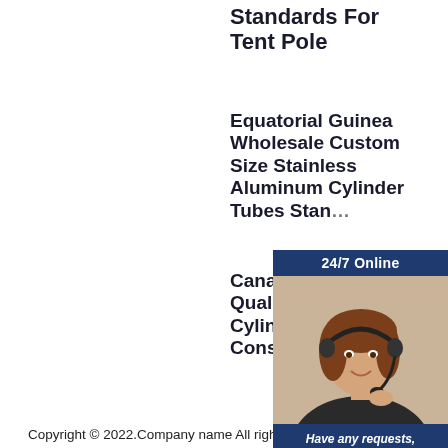Standards For Tent Pole
Equatorial Guinea Wholesale Custom Size Stainless Aluminum Cylinder Tubes Standards...
Canada Standard Quality 324 Air Cylinder Standards Construction...
[Figure (infographic): 24/7 Online chat widget with female customer service agent wearing headset, 'Have any requests, click here.' text, and orange Quotation button]
Copyright © 2022.Company name All rights reserved.